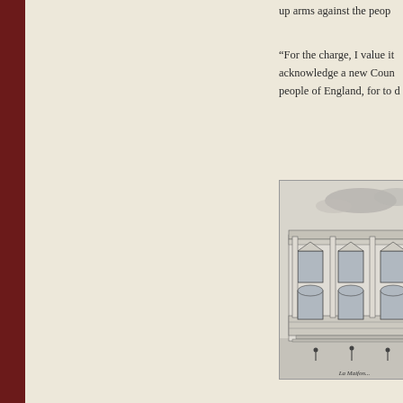up arms against the peop
“For the charge, I value it acknowledge a new Coun people of England, for to d
[Figure (illustration): Engraving of a classical European building facade, two stories with columns, pediments over windows, ornate cornice, and small figures in foreground. Caption reads 'La Maison...']